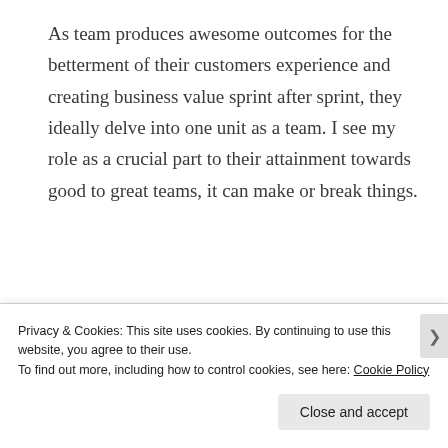As team produces awesome outcomes for the betterment of their customers experience and creating business value sprint after sprint, they ideally delve into one unit as a team. I see my role as a crucial part to their attainment towards good to great teams, it can make or break things.
So what does it mean and how does it impact you as an individual?
Privacy & Cookies: This site uses cookies. By continuing to use this website, you agree to their use.
To find out more, including how to control cookies, see here: Cookie Policy